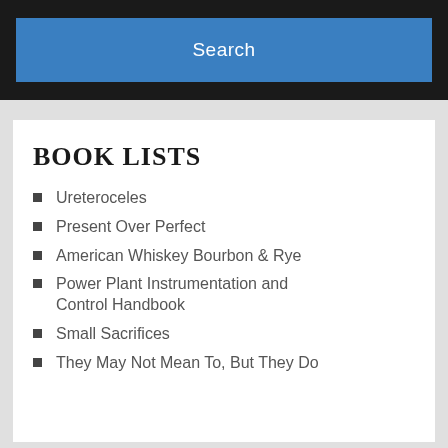[Figure (screenshot): Search button UI element with blue background and white text reading 'Search' on a dark background bar]
BOOK LISTS
Ureteroceles
Present Over Perfect
American Whiskey Bourbon & Rye
Power Plant Instrumentation and Control Handbook
Small Sacrifices
They May Not Mean To, But They Do